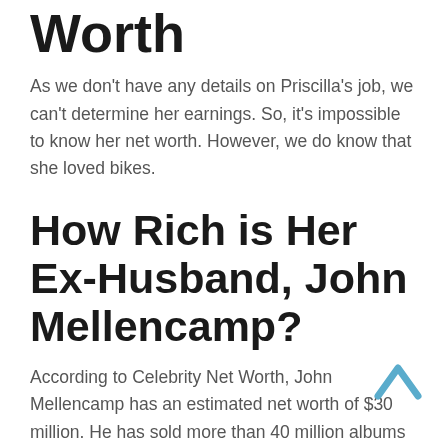Worth
As we don't have any details on Priscilla's job, we can't determine her earnings. So, it's impossible to know her net worth. However, we do know that she loved bikes.
How Rich is Her Ex-Husband, John Mellencamp?
According to Celebrity Net Worth, John Mellencamp has an estimated net worth of $30 million. He has sold more than 40 million albums which have earned him a fortune.
Likewise, he purchased a 1,800 square feet loft in